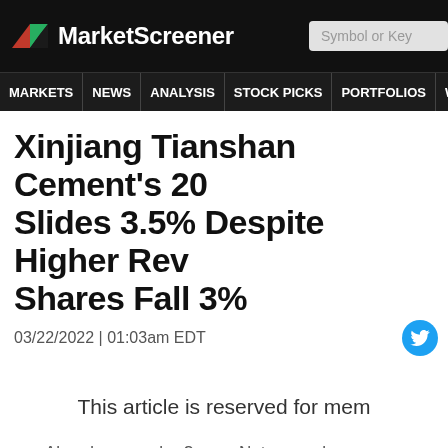MarketScreener
MARKETS NEWS ANALYSIS STOCK PICKS PORTFOLIOS WATCHLI
Xinjiang Tianshan Cement's 20 Slides 3.5% Despite Higher Rev Shares Fall 3%
03/22/2022 | 01:03am EDT
This article is reserved for mem
Already a member?
Not a memb
Log In
Sign up for FR